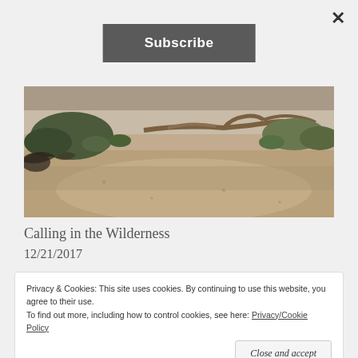×
Subscribe
[Figure (photo): Desert landscape with sandy ground, scrub brush, dry twisted branches, and sparse desert vegetation]
Calling in the Wilderness
12/21/2017
Privacy & Cookies: This site uses cookies. By continuing to use this website, you agree to their use.
To find out more, including how to control cookies, see here: Privacy/Cookie Policy
Close and accept